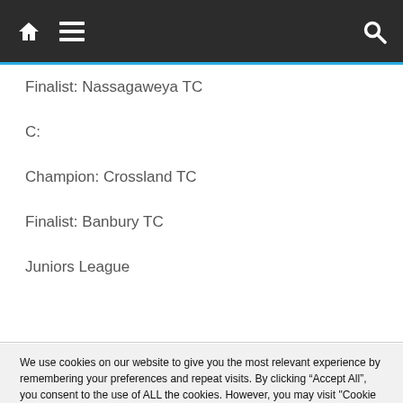Navigation bar with home, menu, and search icons
Finalist: Nassagaweya TC
C:
Champion: Crossland TC
Finalist: Banbury TC
Juniors League
We use cookies on our website to give you the most relevant experience by remembering your preferences and repeat visits. By clicking “Accept All”, you consent to the use of ALL the cookies. However, you may visit "Cookie Settings" to provide controlled consent.